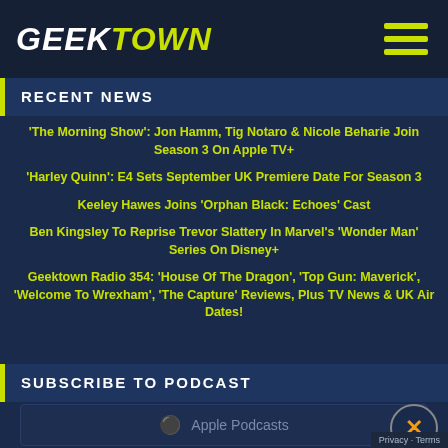GEEKTOWN
RECENT NEWS
'The Morning Show': Jon Hamm, Tig Notaro & Nicole Beharie Join Season 3 On Apple TV+
'Harley Quinn': E4 Sets September UK Premiere Date For Season 3
Keeley Hawes Joins 'Orphan Black: Echoes' Cast
Ben Kingsley To Reprise Trevor Slattery In Marvel's 'Wonder Man' Series On Disney+
Geektown Radio 354: 'House Of The Dragon', 'Top Gun: Maverick', 'Welcome To Wrexham', 'The Capture' Reviews, Plus TV News & UK Air Dates!
SUBSCRIBE TO PODCAST
Apple Podcasts